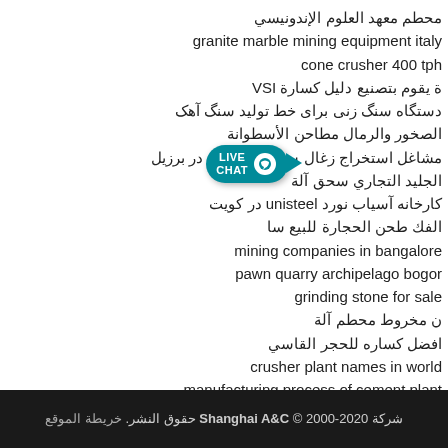محطم معهد العلوم الإندونيسي
granite marble mining equipment italy
cone crusher 400 tph
ة يقوم بتصنيع دليل كسارة VSI
دستگاه سنگ زنی برای خط تولید سنگ آهک
الصخور والرمال مطاحن الأسطوانة
مشاغل استخراج زغال سنگ زیرزمینی در برزیل
الجليد التجاري سحق آلة
کارخانه آسیاب نورد unisteel در کویت
الفك طحن الحجارة للبيع سا
mining companies in bangalore
pawn quarry archipelago bogor
grinding stone for sale
ن مخروط محطم آلة
افضل كساره للحجر القاسي
crusher plant names in world
manufacturing process of cement plant
اسمنت مقاول المشروع طاحونة
شركة Shanghai A&C © 2000-2020 حقوق النشر. خريطة الموقع